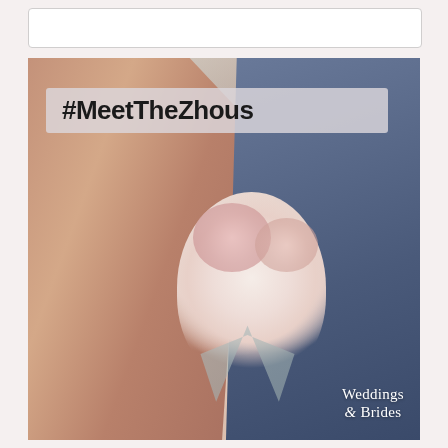[Figure (photo): Wedding photo of a bride and groom from behind. The bride, with long dark hair, is in a backless dress. The groom wears a navy suit with a bow tie. The bride holds a large bouquet of white and pink roses with silver foliage. Overlaid with the hashtag '#MeetTheZhous' in a semi-transparent box, and the 'Weddings & Brides' logo in the bottom right corner.]